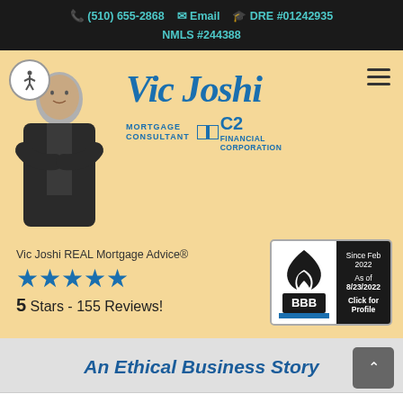(510) 655-2868   Email   DRE #01242935   NMLS #244388
[Figure (logo): Vic Joshi Mortgage Consultant C2 Financial Corporation logo with photo of man in suit]
Vic Joshi REAL Mortgage Advice®
5 Stars - 155 Reviews!
[Figure (other): BBB Accredited Business badge - Since Feb 2022, As of 8/23/2022, Click for Profile]
An Ethical Business Story